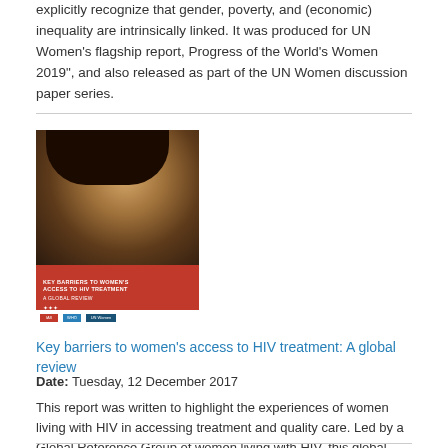explicitly recognize that gender, poverty, and (economic) inequality are intrinsically linked. It was produced for UN Women's flagship report, Progress of the World's Women 2019", and also released as part of the UN Women discussion paper series.
[Figure (photo): Book cover of 'Key barriers to women's access to HIV treatment: A global review' showing a woman's face and a red banner with title text and logos at the bottom.]
Key barriers to women's access to HIV treatment: A global review
Date: Tuesday, 12 December 2017
This report was written to highlight the experiences of women living with HIV in accessing treatment and quality care. Led by a Global Reference Group of women living with HIV, this global review uses a gender-responsive and human rights-based framework to explore the various factors that impact women's experience and decision making around treatment.